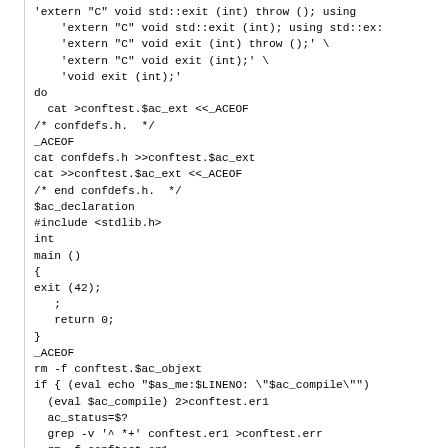'extern "C" void std::exit (int) throw (); using
    'extern "C" void std::exit (int); using std::ex:
    'extern "C" void exit (int) throw ();' \
    'extern "C" void exit (int);' \
    'void exit (int);'
do
  cat >conftest.$ac_ext <<_ACEOF
/* confdefs.h.  */
_ACEOF
cat confdefs.h >>conftest.$ac_ext
cat >>conftest.$ac_ext <<_ACEOF
/* end confdefs.h.  */
$ac_declaration
#include <stdlib.h>
int
main ()
{
exit (42);
   ;
   return 0;
}
_ACEOF
rm -f conftest.$ac_objext
if { (eval echo "$as_me:$LINENO: \"$ac_compile\"")
  (eval $ac_compile) 2>conftest.er1
  ac_status=$?
  grep -v '^ *+' conftest.er1 >conftest.err
  rm -f conftest.er1
  cat conftest.err >&5
  echo "$as_me:$LINENO: \$? = $ac_status" >&5
  (exit $ac_status); } &&
        { ac_try='test -z "$ac_c_werror_flag"
              || test -b conftest.err